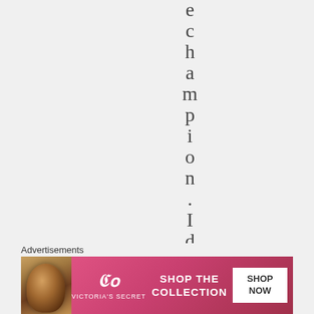e c h a m p i o n . I d o n
Advertisements
[Figure (photo): Victoria's Secret advertisement banner with model, VS logo, 'SHOP THE COLLECTION' text, and 'SHOP NOW' button on pink/red gradient background]